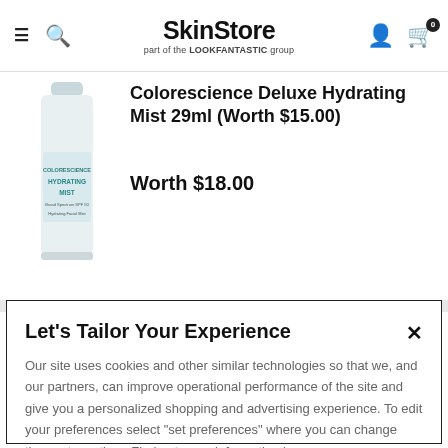SkinStore part of the LOOKFANTASTIC group
[Figure (photo): Colorescience Hydrating Mist product bottle, white/light blue, tall slim bottle with teal label text]
Colorescience Deluxe Hydrating Mist 29ml (Worth $15.00)
Worth $18.00
Let's Tailor Your Experience
Our site uses cookies and other similar technologies so that we, and our partners, can improve operational performance of the site and give you a personalized shopping and advertising experience. To edit your preferences select "set preferences" where you can change these at any time. Find out more information here.